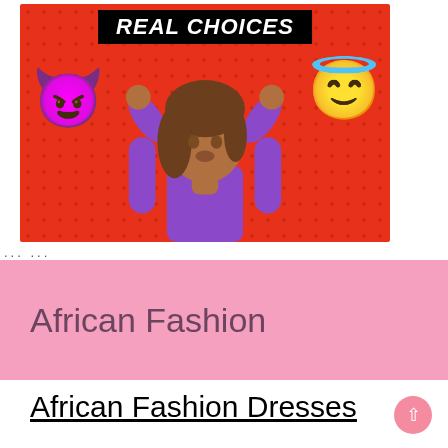[Figure (illustration): Illustration of a woman with medium-brown skin and brown hair wearing a purple top, holding up a purple devil emoji on her left hand and a yellow angel/halo emoji on her right hand, against a red dotted background. A black banner at the top reads 'REAL CHOICES' in white bold italic text.]
... ...
African Fashion
African Fashion Dresses